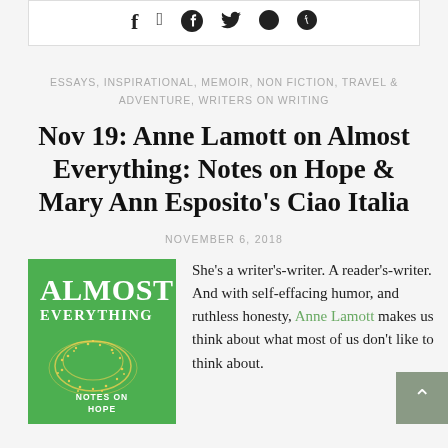[Figure (other): Social media share icons: Facebook (f), Twitter (bird), Pinterest (p) in a white bordered box]
ESSAYS, INSPIRATIONAL, MEMOIR, NON FICTION, TRAVEL & ADVENTURE, WRITERS ON WRITING
Nov 19: Anne Lamott on Almost Everything: Notes on Hope & Mary Ann Esposito's Ciao Italia
NOVEMBER 6, 2018
[Figure (illustration): Book cover for 'Almost Everything: Notes on Hope' by Anne Lamott on green background with gold dot pattern]
She's a writer's-writer. A reader's-writer. And with self-effacing humor, and ruthless honesty, Anne Lamott makes us think about what most of us don't like to think about.